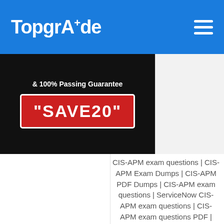TopgrAde
[Figure (screenshot): Dark banner with '& 100% Passing Guarantee' text and a red box with white text reading "SAVE20"]
CIS-APM exam questions | CIS-APM Exam Dumps | CIS-APM PDF Dumps | CIS-APM exam questions | ServiceNow CIS-APM exam questions | CIS-APM exam questions PDF | CIS-APM PDF